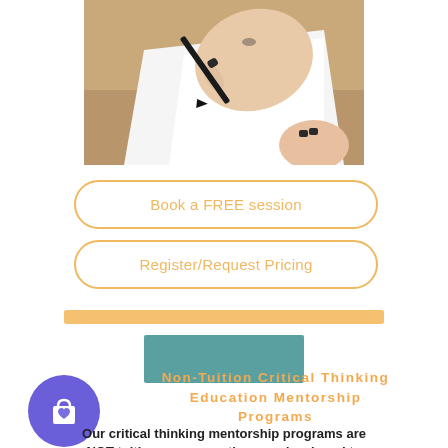[Figure (photo): Close-up photo of a hand with dark nail polish holding a pen, writing on white paper on a wooden desk. The person has a small tattoo on the wrist.]
Book a FREE session
Register/Request Pricing
[Figure (other): Orange horizontal decorative bar]
[Figure (other): Teal/slate colored rectangle]
[Figure (illustration): Purple circle with a white shopping bag with heart icon]
Non-Tuition Critical Thinking Education Mentorship Programs
Our critical thinking mentorship programs are NOT tuition programs, they are developed to